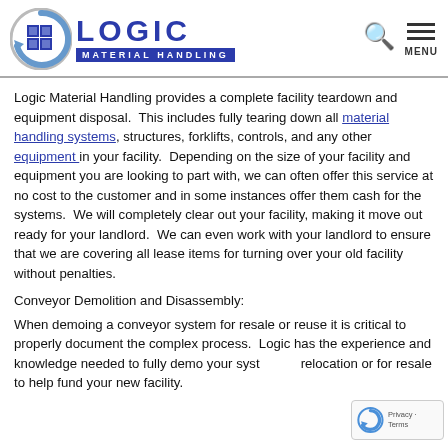LOGIC MATERIAL HANDLING
Logic Material Handling provides a complete facility teardown and equipment disposal. This includes fully tearing down all material handling systems, structures, forklifts, controls, and any other equipment in your facility. Depending on the size of your facility and equipment you are looking to part with, we can often offer this service at no cost to the customer and in some instances offer them cash for the systems. We will completely clear out your facility, making it move out ready for your landlord. We can even work with your landlord to ensure that we are covering all lease items for turning over your old facility without penalties.
Conveyor Demolition and Disassembly:
When demoing a conveyor system for resale or reuse it is critical to properly document the complex process. Logic has the experience and knowledge needed to fully demo your system for relocation or for resale to help fund your new facility.